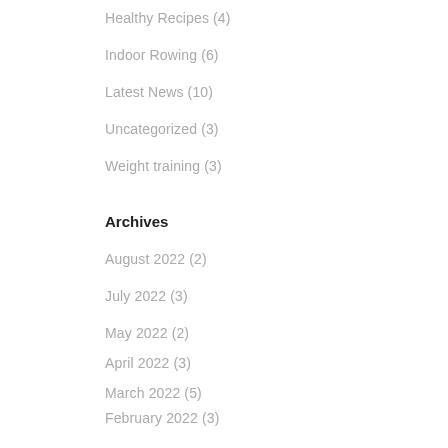Healthy Recipes (4)
Indoor Rowing (6)
Latest News (10)
Uncategorized (3)
Weight training (3)
Archives
August 2022 (2)
July 2022 (3)
May 2022 (2)
April 2022 (3)
March 2022 (5)
February 2022 (3)
January 2022 (2)
December 2021 (3)